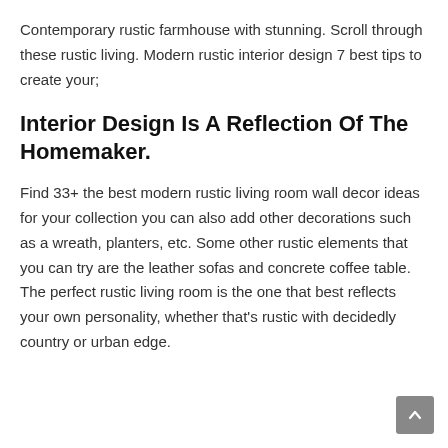Contemporary rustic farmhouse with stunning. Scroll through these rustic living. Modern rustic interior design 7 best tips to create your;
Interior Design Is A Reflection Of The Homemaker.
Find 33+ the best modern rustic living room wall decor ideas for your collection you can also add other decorations such as a wreath, planters, etc. Some other rustic elements that you can try are the leather sofas and concrete coffee table. The perfect rustic living room is the one that best reflects your own personality, whether that's rustic with decidedly country or urban edge.